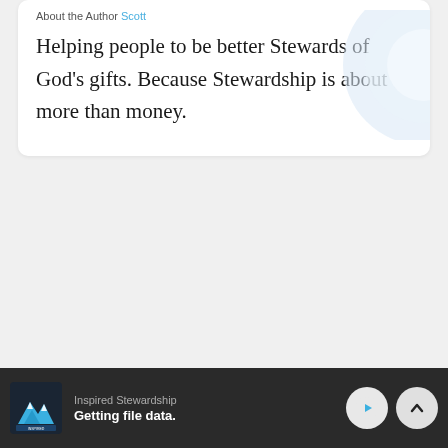About the Author Scott
Helping people to be better Stewards of God's gifts. Because Stewardship is about more than money.
Inspired Stewardship
Getting file data.